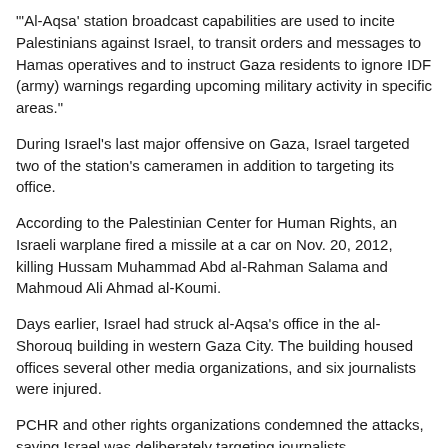"'Al-Aqsa' station broadcast capabilities are used to incite Palestinians against Israel, to transit orders and messages to Hamas operatives and to instruct Gaza residents to ignore IDF (army) warnings regarding upcoming military activity in specific areas."
During Israel's last major offensive on Gaza, Israel targeted two of the station's cameramen in addition to targeting its office.
According to the Palestinian Center for Human Rights, an Israeli warplane fired a missile at a car on Nov. 20, 2012, killing Hussam Muhammad Abd al-Rahman Salama and Mahmoud Ali Ahmad al-Koumi.
Days earlier, Israel had struck al-Aqsa's office in the al-Shorouq building in western Gaza City. The building housed offices several other media organizations, and six journalists were injured.
PCHR and other rights organizations condemned the attacks, saying Israel was deliberately targeting journalists.
Hamas denies agreeing to 24-hour humanitarian ceasefire